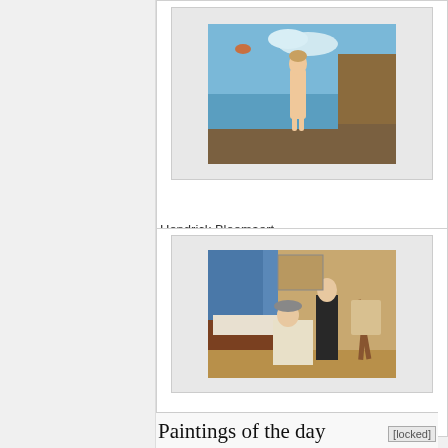[Figure (illustration): Painting thumbnail of a nude female figure standing in a landscape with sky and rocks, with small figures in the background. Artist card for Hendrick Bloemaert.]
Hendrick Bloemaert
[Figure (illustration): Painting thumbnail showing an interior scene with multiple figures including a seated woman and a standing man in dark clothing, with drapery and artwork in background. Artist card for Hendrick Carre.]
Hendrick Carre
Paintings of the day
[locked]